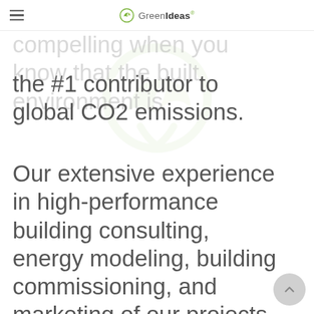GreenIdeas
compelling when you know that the built environment is the #1 contributor to global CO2 emissions.
Our extensive experience in high-performance building consulting, energy modeling, building commissioning, and marketing of our projects, as well as hands-on experience in the trades, has well-equipped our firm to meet all of your needs as they relate to green building to move your company towards total sustainability. The combined skills and experience of our